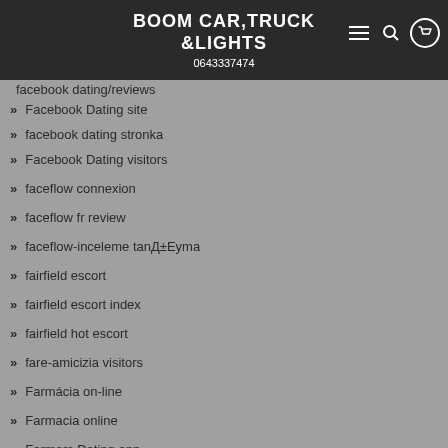BOOM CAR,TRUCK &LIGHTS
0643337474
facebook dating/reviews
Facebook Dating site
facebook dating stronka
Facebook Dating visitors
faceflow connexion
faceflow fr review
faceflow-inceleme tanД±Eyma
fairfield escort
fairfield escort index
fairfield hot escort
fare-amicizia visitors
Farmácia on-line
Farmacia online
Farmers Dating app
farmers dating site come funziona